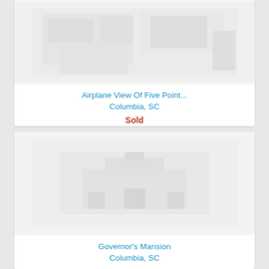[Figure (photo): Aerial photograph placeholder of Five Point area in Columbia, SC]
Airplane View Of Five Point...
Columbia, SC
Sold
[Figure (photo): Photograph placeholder of Governor's Mansion in Columbia, SC]
Governor's Mansion
Columbia, SC